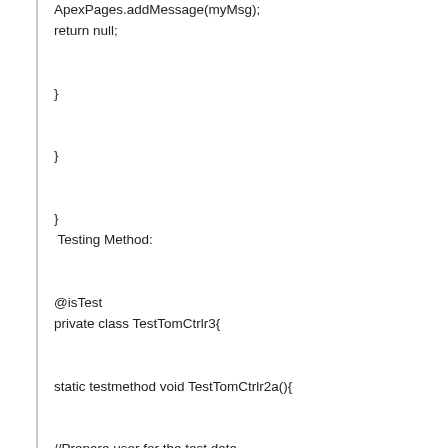ApexPages.addMessage(myMsg);
return null;

}

}

}
 Testing Method:


@isTest
private class TestTomCtrlr3{

static testmethod void TestTomCtrlr2a(){

//Prepare user for the test data
date dueDate = date.newInstance(2008, 1, 30);

String Quv = [select Queue.id from QueueSobject
where Queue.name='A Test US Leads'][0].Queue.id;

Profile p = [select id from profile where